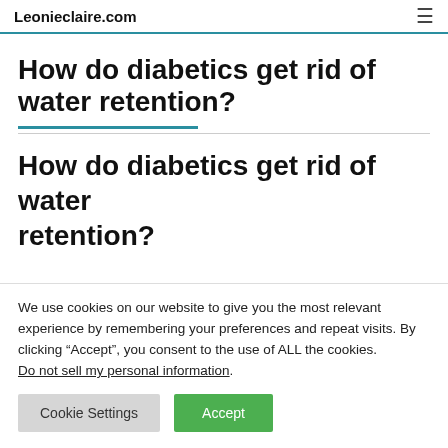Leonieclaire.com
How do diabetics get rid of water retention?
How do diabetics get rid of water retention?
We use cookies on our website to give you the most relevant experience by remembering your preferences and repeat visits. By clicking “Accept”, you consent to the use of ALL the cookies.
Do not sell my personal information.